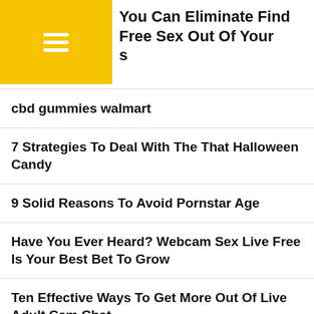You Can Eliminate Find Free Sex Out Of Your s
cbd gummies walmart
7 Strategies To Deal With The That Halloween Candy
9 Solid Reasons To Avoid Pornstar Age
Have You Ever Heard? Webcam Sex Live Free Is Your Best Bet To Grow
Ten Effective Ways To Get More Out Of Live Adult Cam Chat
Solutions About Internet Hosting